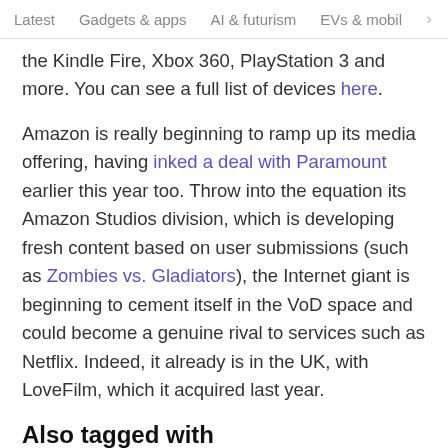Latest   Gadgets & apps   AI & futurism   EVs & mobil  >
the Kindle Fire, Xbox 360, PlayStation 3 and more. You can see a full list of devices here.
Amazon is really beginning to ramp up its media offering, having inked a deal with Paramount earlier this year too. Throw into the equation its Amazon Studios division, which is developing fresh content based on user submissions (such as Zombies vs. Gladiators), the Internet giant is beginning to cement itself in the VoD space and could become a genuine rival to services such as Netflix. Indeed, it already is in the UK, with LoveFilm, which it acquired last year.
Also tagged with